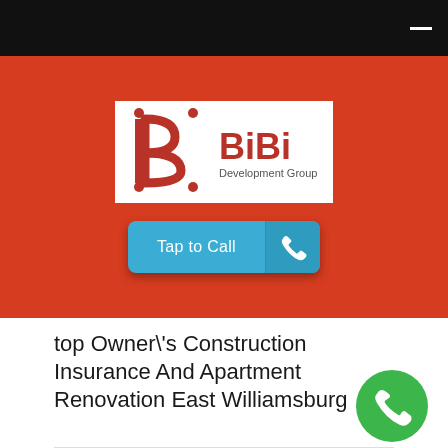[Figure (logo): BiBi Development Group logo — stylized B letter mark in dark red on white background with 'BiBi Development Group' text in dark red]
[Figure (other): Blue 'Tap to Call' button with phone icon on darker blue right panel]
top Owner\'s Construction Insurance And Apartment Renovation East Williamsburg
[Figure (other): Green circular phone call button]